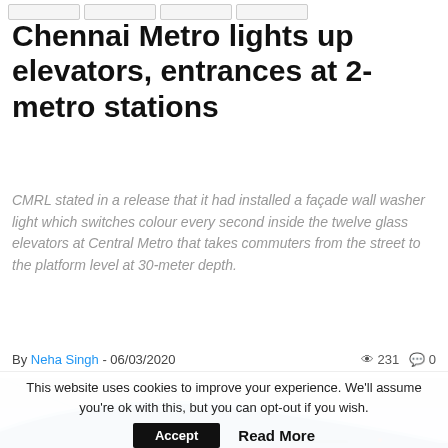Chennai Metro lights up elevators, entrances at 2-metro stations
CMRL stated in a release that it had installed a façade wall washer light which switches colour every second inside the twelve glass elevators at Central Metro that takes commuters from the street to the platform level at 30-meter depth.
By Neha Singh - 06/03/2020   231  0
[Figure (photo): Photo of a Chennai Metro train (blue and grey) with label C134 at a station, viewed from above angle showing the top and side of the train car.]
This website uses cookies to improve your experience. We'll assume you're ok with this, but you can opt-out if you wish.